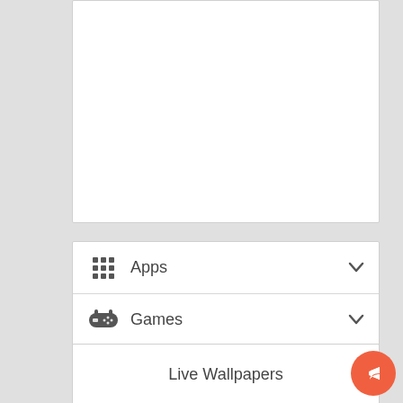[Figure (screenshot): Top white card area, partially visible, clipped at top]
Apps (with grid icon and dropdown chevron)
Games (with gamepad icon and dropdown chevron)
Launchers (with rocket icon)
Live Wallpapers
[Figure (illustration): Floating action button (coral/red circle with share/reply arrow icon) in bottom-right corner]